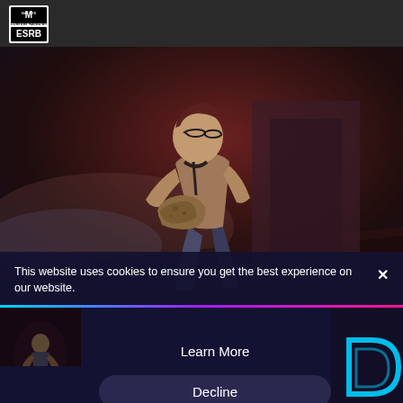[Figure (logo): ESRB Mature 17+ rating logo in top left corner]
[Figure (screenshot): Video game screenshot showing a male character with glasses crouching and holding a rock/artifact in a dark industrial environment with smoke and reddish atmospheric lighting]
This website uses cookies to ensure you get the best experience on our website.
Learn More
Decline
Allow All
[Figure (logo): Stylized blue D letter logo in bottom right corner]